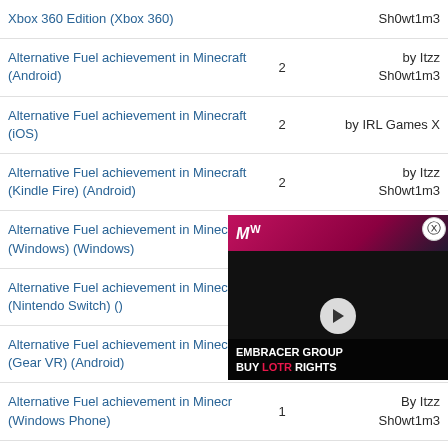| Achievement/Trophy | Count | User |
| --- | --- | --- |
| Xbox 360 Edition (Xbox 360) |  | Sh0wt1m3 |
| Alternative Fuel achievement in Minecraft (Android) | 2 | by Itzz Sh0wt1m3 |
| Alternative Fuel achievement in Minecraft (iOS) | 2 | by IRL Games X |
| Alternative Fuel achievement in Minecraft (Kindle Fire) (Android) | 2 | by Itzz Sh0wt1m3 |
| Alternative Fuel achievement in Minecraft (Windows) (Windows) | 2 | by Itzz Sh0wt1m3 |
| Alternative Fuel achievement in Minecraft (Nintendo Switch) () |  |  |
| Alternative Fuel achievement in Minecraft (Gear VR) (Android) |  |  |
| Alternative Fuel achievement in Minecraft (Windows Phone) | 1 | by Itzz Sh0wt1m3 |
| Alternative Fuel trophy in Minecraft: |  | by |
[Figure (screenshot): Video ad overlay showing MW (MullVurtal) logo banner and 'Embracer Group Buy LOTR Rights' text with a play button over a dark background image]